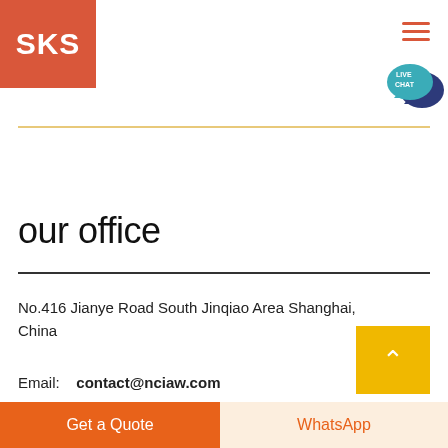[Figure (logo): SKS logo — white bold text on orange/red square background]
[Figure (illustration): Hamburger menu icon (three horizontal red lines) in top right]
[Figure (illustration): Live Chat speech bubble icon — teal bubble with white 'LIVE CHAT' text, overlapping dark blue bubble]
our office
No.416 Jianye Road South Jinqiao Area Shanghai, China
Email:    contact@nciaw.com
[Figure (illustration): Gold/yellow square back-to-top button with white upward caret arrow]
Get a Quote
WhatsApp